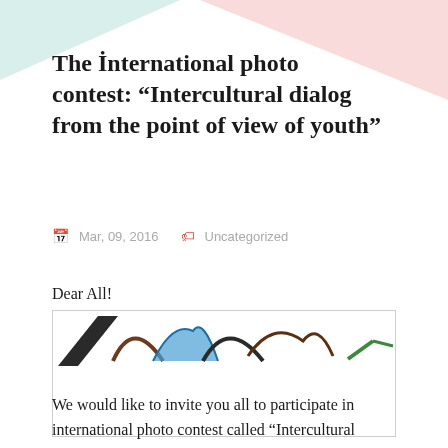The İnternational photo contest: “Intercultural dialog from the point of view of youth”
Mar, 09, 2016   Uncategorized
Dear All!
[Figure (illustration): Partial view of an illustration or logo with colorful curved shapes on white background, cut off at the top]
We would like to invite you all to participate in international photo contest called “Intercultural dialog from the point of view